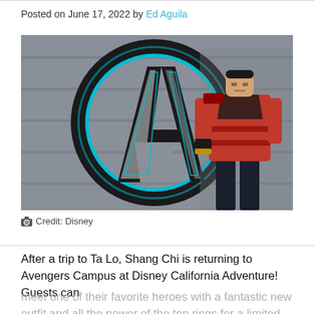Posted on June 17, 2022 by Ed Aguila
[Figure (photo): Shang-Chi character in red superhero costume standing in front of large Avengers logo on a metallic wall at Avengers Campus, Disney California Adventure]
📷 Credit: Disney
After a trip to Ta Lo, Shang Chi is returning to Avengers Campus at Disney California Adventure! Guests can meet one of their favorite heroes with a fantastic new outfit and all the power of the ten rings for a limited